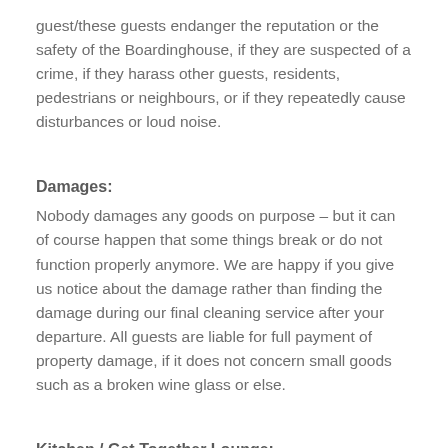guest/these guests endanger the reputation or the safety of the Boardinghouse, if they are suspected of a crime, if they harass other guests, residents, pedestrians or neighbours, or if they repeatedly cause disturbances or loud noise.
Damages:
Nobody damages any goods on purpose – but it can of course happen that some things break or do not function properly anymore. We are happy if you give us notice about the damage rather than finding the damage during our final cleaning service after your departure. All guests are liable for full payment of property damage, if it does not concern small goods such as a broken wine glass or else.
Kitchen / Get Together Lounge: